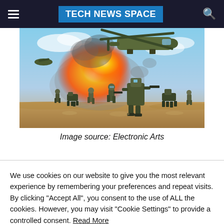TECH NEWS SPACE
[Figure (photo): Game screenshot from Battlefield showing soldiers and robots running across desert terrain with explosions and military aircraft in background. Image from Electronic Arts.]
Image source: Electronic Arts
We use cookies on our website to give you the most relevant experience by remembering your preferences and repeat visits. By clicking "Accept All", you consent to the use of ALL the cookies. However, you may visit "Cookie Settings" to provide a controlled consent. Read More